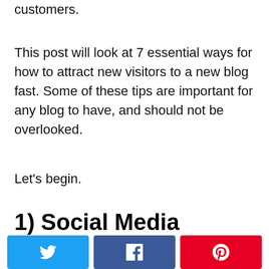customers.
This post will look at 7 essential ways for how to attract new visitors to a new blog fast. Some of these tips are important for any blog to have, and should not be overlooked.
Let's begin.
1) Social Media
[Figure (other): Social media share buttons: Twitter (blue), Facebook (dark blue), Pinterest (red)]